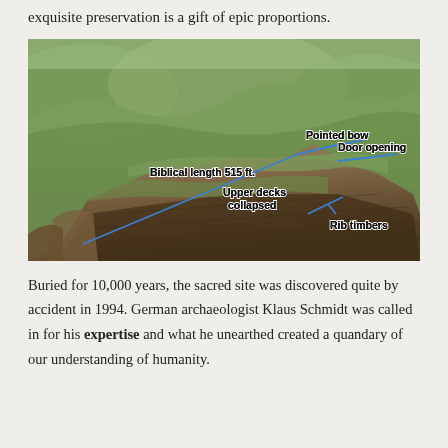exquisite preservation is a gift of epic proportions.
[Figure (photo): Aerial photograph of a rocky hillside formation annotated with blue lines and labels: 'Biblical length 515 ft.', 'Pointed bow', 'Door opening', 'Upper decks collapsed', 'Rib timbers']
Buried for 10,000 years, the sacred site was discovered quite by accident in 1994. German archaeologist Klaus Schmidt was called in for his expertise and what he unearthed created a quandary of our understanding of humanity.